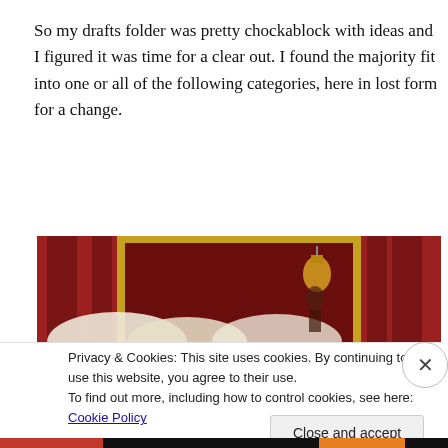So my drafts folder was pretty chockablock with ideas and I figured it was time for a clear out. I found the majority fit into one or all of the following categories, here in lost form for a change.
[Figure (photo): A theatre interior with red velvet curtains, ornate gold-framed mirrors or box seats, and a figure holding a lantern, with white feathered accessories visible in the foreground.]
Privacy & Cookies: This site uses cookies. By continuing to use this website, you agree to their use. To find out more, including how to control cookies, see here: Cookie Policy
Close and accept